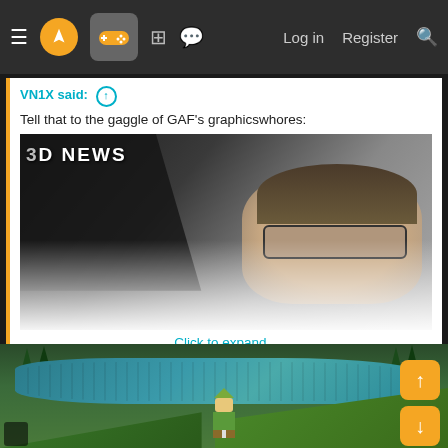Navigation bar with menu, logo, gamepad icon, grid icon, chat icon, Log in, Register, Search
VN1X said: ↑
Tell that to the gaggle of GAF's graphicswhores:
[Figure (photo): Partially visible photo showing a person reacting dramatically in front of a news broadcast screen showing '3D NEWS', fading out at bottom]
Click to expand...
[Figure (screenshot): Video game screenshot showing a character (appears to be Link from Zelda) standing near a large water/lake area with trees and green terrain, in an early 3D game style]